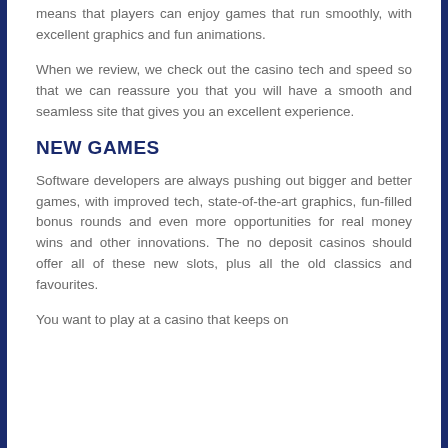means that players can enjoy games that run smoothly, with excellent graphics and fun animations.
When we review, we check out the casino tech and speed so that we can reassure you that you will have a smooth and seamless site that gives you an excellent experience.
NEW GAMES
Software developers are always pushing out bigger and better games, with improved tech, state-of-the-art graphics, fun-filled bonus rounds and even more opportunities for real money wins and other innovations. The no deposit casinos should offer all of these new slots, plus all the old classics and favourites.
You want to play at a casino that keeps on